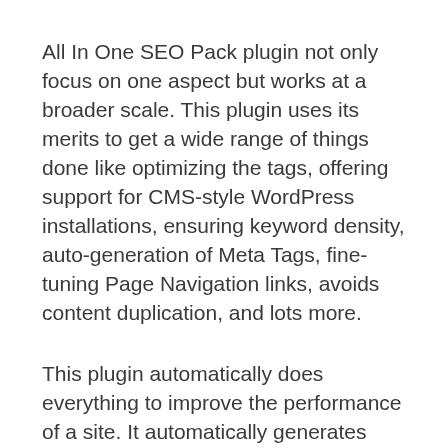All In One SEO Pack plugin not only focus on one aspect but works at a broader scale. This plugin uses its merits to get a wide range of things done like optimizing the tags, offering support for CMS-style WordPress installations, ensuring keyword density, auto-generation of Meta Tags, fine-tuning Page Navigation links, avoids content duplication, and lots more.
This plugin automatically does everything to improve the performance of a site. It automatically generates Meta Tags, optimizes the titles for Google and other search engines, and offers the best support for CMS-style WordPress installations.